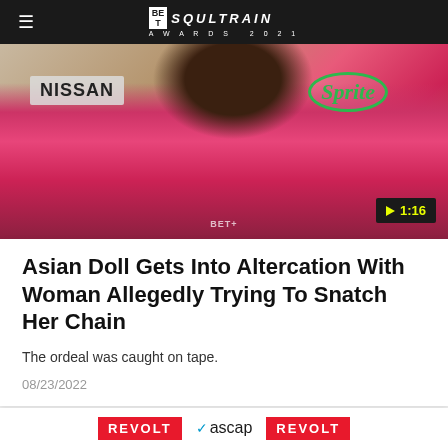BET Soul Train Awards 2021
[Figure (photo): Woman in red floral outfit posing at event with Nissan and Sprite logos visible in background. Video play button badge showing 1:16 duration in bottom right corner.]
Asian Doll Gets Into Altercation With Woman Allegedly Trying To Snatch Her Chain
The ordeal was caught on tape.
08/23/2022
[Figure (photo): Woman at event with REVOLT and ASCAP logos visible in background.]